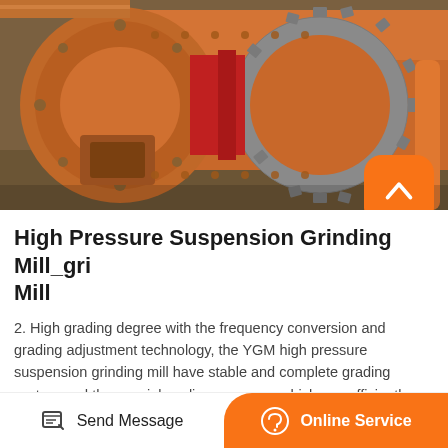[Figure (photo): Industrial orange ball mill / grinding mill machine showing large gear ring and cylindrical drum, industrial equipment for grinding]
High Pressure Suspension Grinding Mill_gri Mill
2. High grading degree with the frequency conversion and grading adjustment technology, the YGM high pressure suspension grinding mill have stable and complete grading system and the special sealing measure ,which can efficiently prevent the leaking of the fine particles .And the particle size can reach 500—6000monyh and the thinnest can reach 12000monyh.
Send Message | Online Service